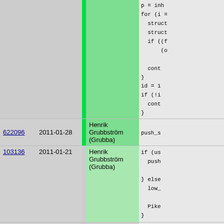| Rev | Date | Author | Code |
| --- | --- | --- | --- |
|  |  |  | p = inh
for (i =
  struct
  struct
  if (((
       (
        
  cont
}
id = 1
if (!1
  cont
} |
| 622096 | 2011-01-28 | Henrik Grubbström (Grubba) | push_s |
| 103136 | 2011-01-21 | Henrik Grubbström (Grubba) | if (us
  push

} else
  low_

  Pike
} |
| 9cded8 | 2011-02-04 | Henrik Grubbström (Grubba) | ref_pu
ref_pu |
| 622096 | 2011-01-28 | Henrik Grubbström (Grubba) | apply_ |